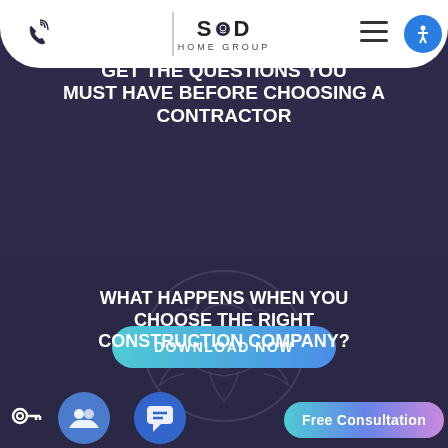[Figure (screenshot): SOD Home Group website navigation bar with phone icon, SOD Home Group logo, hamburger menu, and accessibility icon on white rounded bottom bar]
GET THE QUESTIONS YOU MUST HAVE BEFORE CHOOSING A CONTRACTOR
[Figure (other): Download Now button with teal to blue gradient]
WHAT HAPPENS WHEN YOU CHOOSE THE RIGHT CONSTRUCTION COMPANY?
[Figure (other): Bottom floating UI elements: key icon, group/people icon circle, chat icon circle, Free Consultation pill button]